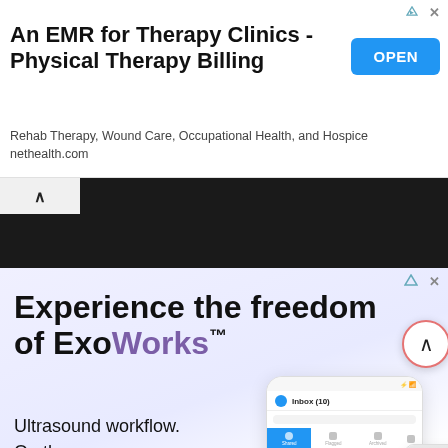[Figure (screenshot): Advertisement banner for nethealth.com EMR for therapy clinics with 'OPEN' button]
An EMR for Therapy Clinics - Physical Therapy Billing
Rehab Therapy, Wound Care, Occupational Health, and Hospice nethealth.com
[Figure (screenshot): Dark navigation bar with caret/up arrow tab]
[Figure (screenshot): Advertisement for ExoWorks ultrasound workflow app showing phone mockup with inbox interface and ultrasound images]
Experience the freedom of ExoWorks™
Ultrasound workflow.
On the go.
From any device.